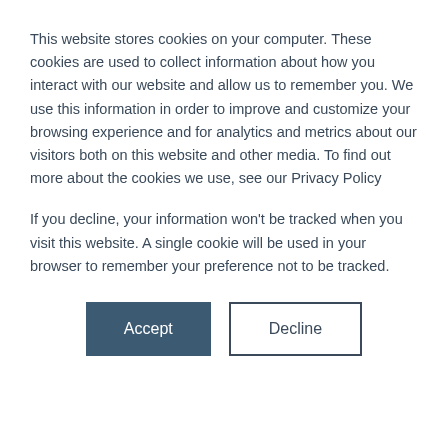This website stores cookies on your computer. These cookies are used to collect information about how you interact with our website and allow us to remember you. We use this information in order to improve and customize your browsing experience and for analytics and metrics about our visitors both on this website and other media. To find out more about the cookies we use, see our Privacy Policy
If you decline, your information won't be tracked when you visit this website. A single cookie will be used in your browser to remember your preference not to be tracked.
Accept | Decline
Need help? Want training? Have questions? We're here to help.
Contact Support